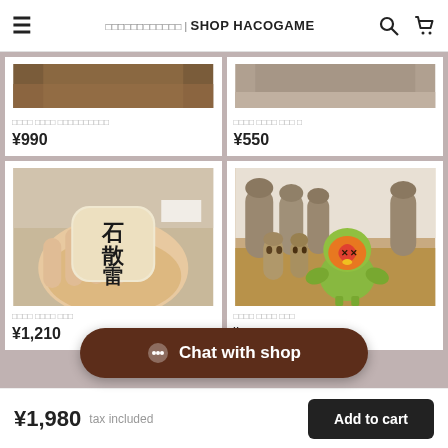□□□□□□□□□□□□ | SHOP HACOGAME
[Figure (photo): Partial top of two product cards showing brown/tan textured images]
□□□□ □□□□ □□□□□□□□□□
¥990
□□□□ □□□□ □□□ □
¥550
[Figure (photo): Hand holding a small cream-colored rectangular stone/tablet with Japanese kanji characters 石散雷 written in black ink]
[Figure (photo): Group of small clay/ceramic figurines on a wooden surface, including earthy-toned humanoid figures and a colorful green bird-like character with orange face markings]
□□□□ □□□□ □□□
¥1,210
□□□□ □□□□ □□□
💬 Chat with shop
¥1,980  tax included
Add to cart